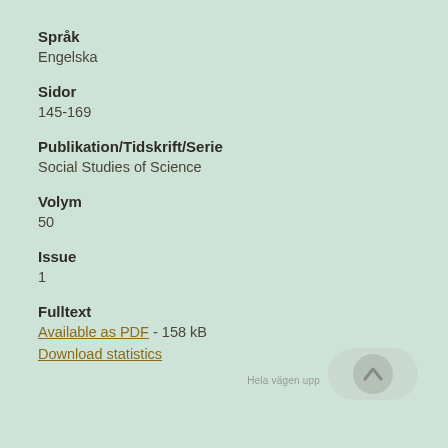Språk
Engelska
Sidor
145-169
Publikation/Tidskrift/Serie
Social Studies of Science
Volym
50
Issue
1
Fulltext
Available as PDF - 158 kB
Download statistics